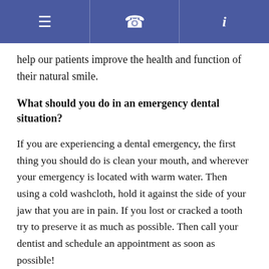≡  ✆  i
help our patients improve the health and function of their natural smile.
What should you do in an emergency dental situation?
If you are experiencing a dental emergency, the first thing you should do is clean your mouth, and wherever your emergency is located with warm water. Then using a cold washcloth, hold it against the side of your jaw that you are in pain. If you lost or cracked a tooth try to preserve it as much as possible. Then call your dentist and schedule an appointment as soon as possible!
If I cannot reach my dentist can I get a tooth pulled in the ER?
You cannot have a tooth pulled at the ER. If you are